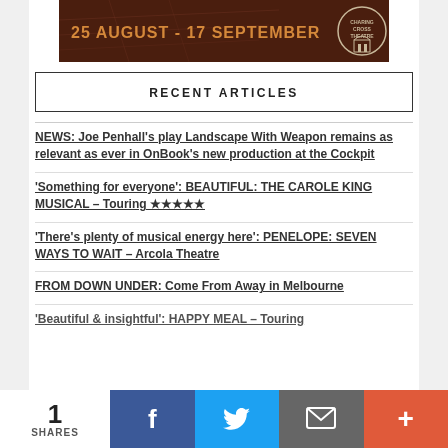[Figure (photo): Banner image showing '25 AUGUST - 17 SEPTEMBER' text in orange on dark brown/red background with a theatre logo on the right]
RECENT ARTICLES
NEWS: Joe Penhall's play Landscape With Weapon remains as relevant as ever in OnBook's new production at the Cockpit
'Something for everyone': BEAUTIFUL: THE CAROLE KING MUSICAL – Touring ★★★★★
'There's plenty of musical energy here': PENELOPE: SEVEN WAYS TO WAIT – Arcola Theatre
FROM DOWN UNDER: Come From Away in Melbourne
'Beautiful & insightful': HAPPY MEAL – Touring
1 SHARES  [Facebook] [Twitter] [Email] [More]